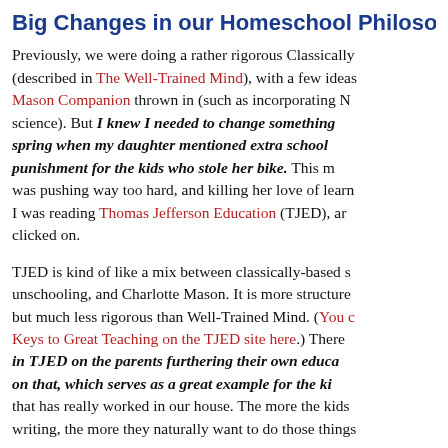Big Changes in our Homeschool Philosophy
Previously, we were doing a rather rigorous Classically-based approach (described in The Well-Trained Mind), with a few ideas from the Charlotte Mason Companion thrown in (such as incorporating N... science). But I knew I needed to change something last spring when my daughter mentioned extra schoolwork as a punishment for the kids who stole her bike. This m... was pushing way too hard, and killing her love of learning. I was reading Thomas Jefferson Education (TJED), and it clicked on.
TJED is kind of like a mix between classically-based schooling, unschooling, and Charlotte Mason. It is more structured but much less rigorous than Well-Trained Mind. (You can read Keys to Great Teaching on the TJED site here.) There is a focus in TJED on the parents furthering their own education and modeling on that, which serves as a great example for the kids. that has really worked in our house. The more the kids... writing, the more they naturally want to do those things...